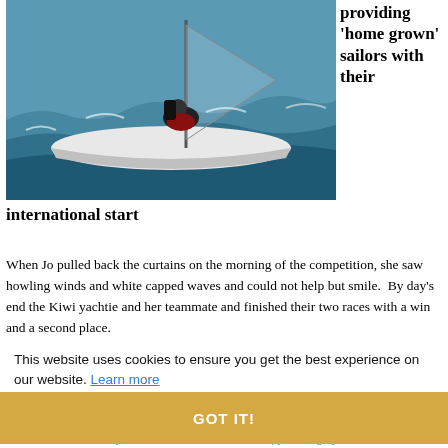[Figure (photo): A sailor in a small dinghy on choppy blue-green water, with waves visible. The sailor is leaning back wearing a red and black jacket. The hull of the boat is white.]
providing 'home grown' sailors with their international start
When Jo pulled back the curtains on the morning of the competition, she saw howling winds and white capped waves and could not help but smile.  By day's end the Kiwi yachtie and her teammate and finished their two races with a win and a second place.
Picture left: George Gaultry
This website uses cookies to ensure you get the best experience on our website. Learn more
New Zealanders are passionate about the sport of yachting.
There have been many achievements in the world of yachting by New Zealanders over the centuries that started in humble yet sturdy yachts like the P-class on the harbours, lakes and rivers of New Zealand.
GOT IT!